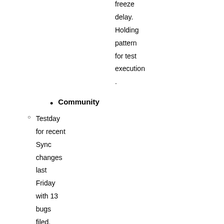freeze delay. Holding pattern for test execution .
Community
Testday for recent Sync changes last Friday with 13 bugs filed.
Automation & Tools